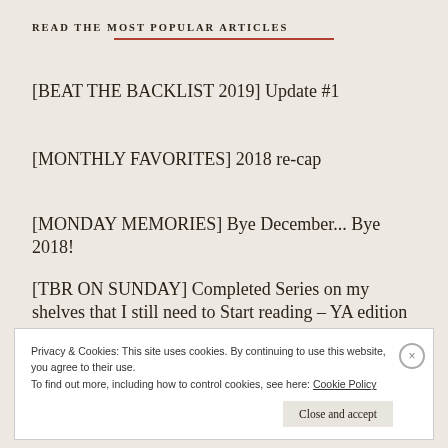READ THE MOST POPULAR ARTICLES
[BEAT THE BACKLIST 2019] Update #1
[MONTHLY FAVORITES] 2018 re-cap
[MONDAY MEMORIES] Bye December... Bye 2018!
[TBR ON SUNDAY] Completed Series on my shelves that I still need to Start reading – YA edition
Privacy & Cookies: This site uses cookies. By continuing to use this website, you agree to their use.
To find out more, including how to control cookies, see here: Cookie Policy
Close and accept